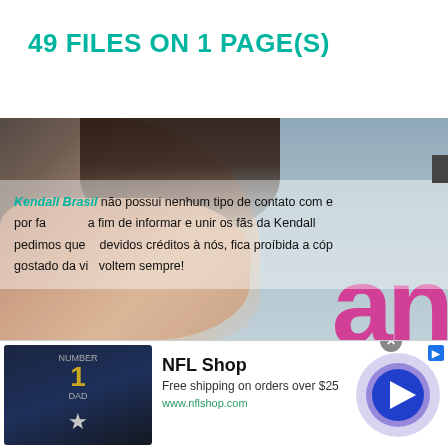49 FILES ON 1 PAGE(S)
[Figure (photo): Kendall Jenner photo with teal/grey background and pink letters 'an' partially visible in bottom right. Overlay text in Portuguese about Kendall Brasil fansite.]
Kendall Brasil não possui nenhum tipo de contato com... por fa... a fim de informar e unir os fãs da Kendall... pedimos que... devidos créditos à nós, fica proíbida a cóp... gostado da vi... voltem sempre!
[Figure (screenshot): NFL Shop advertisement banner. Shows NFL jersey image on left, 'NFL Shop' title, 'Free shipping on orders over $25', 'www.nflshop.com' URL, and a blue play/arrow button on right with purple circular design.]